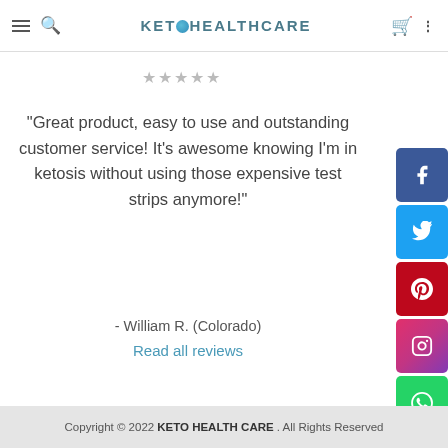KETO HEALTH CARE
★★★★★
"Great product, easy to use and outstanding customer service! It's awesome knowing I'm in ketosis without using those expensive test strips anymore!"
- William R. (Colorado)
Read all reviews
[Figure (infographic): Social media share buttons: Facebook (blue), Twitter (blue), Pinterest (red), Instagram (gradient pink/purple), WhatsApp (green)]
Copyright © 2022 KETO HEALTH CARE. All Rights Reserved